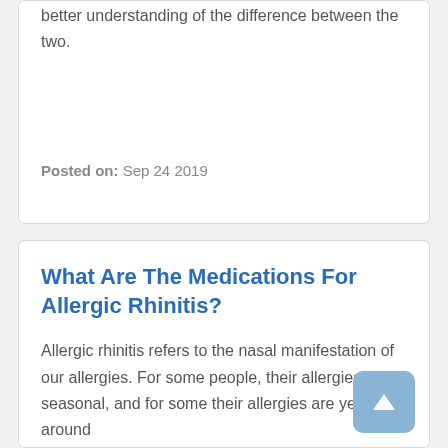better understanding of the difference between the two.
Posted on: Sep 24 2019
What Are The Medications For Allergic Rhinitis?
Allergic rhinitis refers to the nasal manifestation of our allergies. For some people, their allergies are seasonal, and for some their allergies are year around